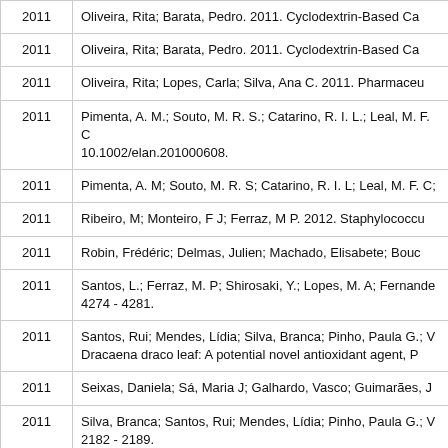| Year | Reference |
| --- | --- |
| 2011 | Oliveira, Rita; Barata, Pedro. 2011. Cyclodextrin-Based Ca |
| 2011 | Oliveira, Rita; Barata, Pedro. 2011. Cyclodextrin-Based Ca |
| 2011 | Oliveira, Rita; Lopes, Carla; Silva, Ana C. 2011. Pharmaceu |
| 2011 | Pimenta, A. M.; Souto, M. R. S.; Catarino, R. I. L.; Leal, M. F. C... 10.1002/elan.201000608. |
| 2011 | Pimenta, A. M; Souto, M. R. S; Catarino, R. I. L; Leal, M. F. C; |
| 2011 | Ribeiro, M; Monteiro, F J; Ferraz, M P. 2012. Staphylococcu |
| 2011 | Robin, Frédéric; Delmas, Julien; Machado, Elisabete; Bouc |
| 2011 | Santos, L.; Ferraz, M. P; Shirosaki, Y.; Lopes, M. A; Fernande... 4274 - 4281. |
| 2011 | Santos, Rui; Mendes, Lídia; Silva, Branca; Pinho, Paula G.; V... Dracaena draco leaf: A potential novel antioxidant agent, P |
| 2011 | Seixas, Daniela; Sá, Maria J; Galhardo, Vasco; Guimarães, J |
| 2011 | Silva, Branca; Santos, Rui; Mendes, Lídia; Pinho, Paula G.; V... 2182 - 2189. |